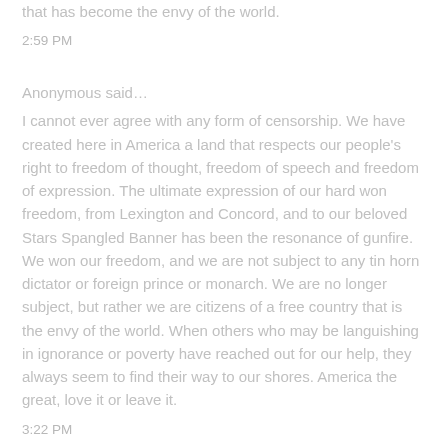that has become the envy of the world.
2:59 PM
Anonymous said…
I cannot ever agree with any form of censorship. We have created here in America a land that respects our people's right to freedom of thought, freedom of speech and freedom of expression. The ultimate expression of our hard won freedom, from Lexington and Concord, and to our beloved Stars Spangled Banner has been the resonance of gunfire. We won our freedom, and we are not subject to any tin horn dictator or foreign prince or monarch. We are no longer subject, but rather we are citizens of a free country that is the envy of the world. When others who may be languishing in ignorance or poverty have reached out for our help, they always seem to find their way to our shores. America the great, love it or leave it.
3:22 PM